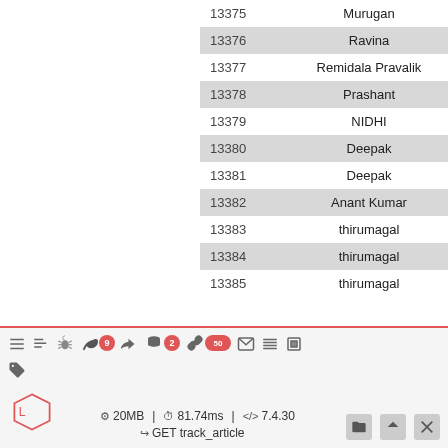| ID | Name |
| --- | --- |
| 13375 | Murugan |
| 13376 | Ravina |
| 13377 | Remidala Pravalik |
| 13378 | Prashant |
| 13379 | NIDHI |
| 13380 | Deepak |
| 13381 | Deepak |
| 13382 | Anant Kumar |
| 13383 | thirumagal |
| 13384 | thirumagal |
| 13385 | thirumagal |
Laravel debug toolbar: 20MB | 81.74ms | 7.4.30 | GET track_article | badges: 9, 2, 50